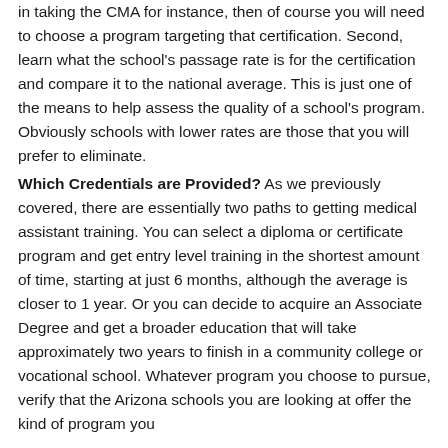in taking the CMA for instance, then of course you will need to choose a program targeting that certification. Second, learn what the school's passage rate is for the certification and compare it to the national average. This is just one of the means to help assess the quality of a school's program. Obviously schools with lower rates are those that you will prefer to eliminate.
Which Credentials are Provided? As we previously covered, there are essentially two paths to getting medical assistant training. You can select a diploma or certificate program and get entry level training in the shortest amount of time, starting at just 6 months, although the average is closer to 1 year. Or you can decide to acquire an Associate Degree and get a broader education that will take approximately two years to finish in a community college or vocational school. Whatever program you choose to pursue, verify that the Arizona schools you are looking at offer the kind of program you